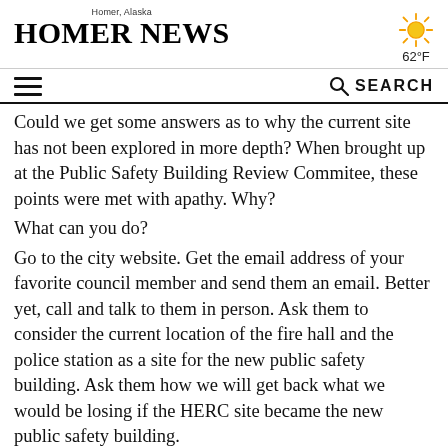Homer, Alaska — HOMER NEWS
62°F
≡   🔍 SEARCH
Could we get some answers as to why the current site has not been explored in more depth? When brought up at the Public Safety Building Review Commitee, these points were met with apathy. Why?
What can you do?
Go to the city website. Get the email address of your favorite council member and send them an email. Better yet, call and talk to them in person. Ask them to consider the current location of the fire hall and the police station as a site for the new public safety building. Ask them how we will get back what we would be losing if the HERC site became the new public safety building.
I don't know about you, but I really like the HERC